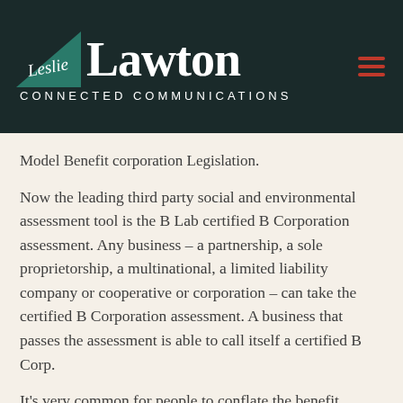[Figure (logo): Leslie Lawton Connected Communications logo: teal triangle badge with 'Leslie' in script, 'Lawton' in large serif white text, 'CONNECTED COMMUNICATIONS' in spaced capitals below, on dark background.]
Model Benefit corporation Legislation.
Now the leading third party social and environmental assessment tool is the B Lab certified B Corporation assessment. Any business – a partnership, a sole proprietorship, a multinational, a limited liability company or cooperative or corporation – can take the certified B Corporation assessment. A business that passes the assessment is able to call itself a certified B Corp.
It's very common for people to conflate the benefit corporation and the certified B corp of